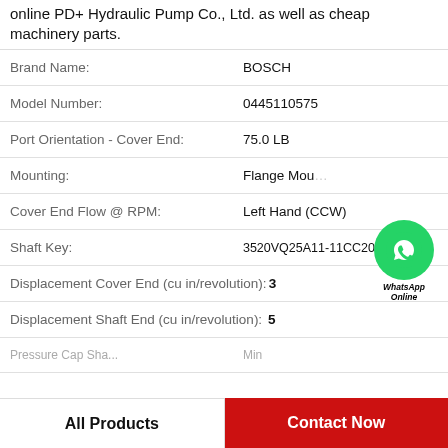online PD+ Hydraulic Pump Co., Ltd. as well as cheap machinery parts.
| Property | Value |
| --- | --- |
| Brand Name: | BOSCH |
| Model Number: | 0445110575 |
| Port Orientation - Cover End: | 75.0 LB |
| Mounting: | Flange Mou... |
| Cover End Flow @ RPM: | Left Hand (CCW) |
| Shaft Key: | 3520VQ25A11-11CC20-L |
| Displacement Cover End (cu in/revolution): | 3 |
| Displacement Shaft End (cu in/revolution): | 5 |
| ... | ... |
[Figure (logo): WhatsApp Online contact badge - green circle with phone icon and text WhatsApp Online]
All Products
Contact Now